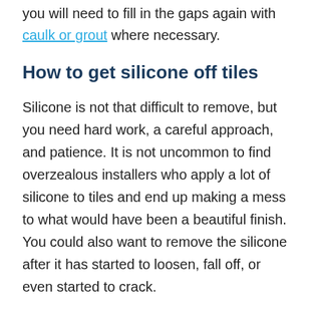you will need to fill in the gaps again with caulk or grout where necessary.
How to get silicone off tiles
Silicone is not that difficult to remove, but you need hard work, a careful approach, and patience. It is not uncommon to find overzealous installers who apply a lot of silicone to tiles and end up making a mess to what would have been a beautiful finish. You could also want to remove the silicone after it has started to loosen, fall off, or even started to crack.